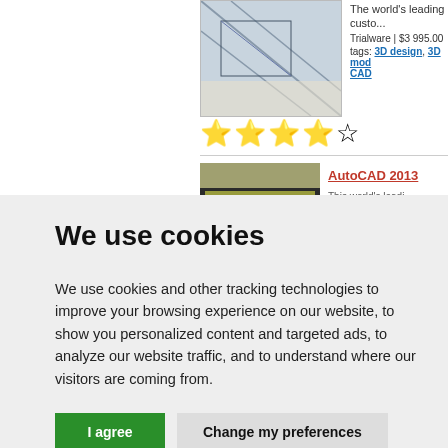[Figure (screenshot): Partial screenshot of a software listing page showing a CAD software thumbnail with diagonal lines, 4 star rating (3 filled), price $3,995.00, tags: 3D design, 3D mod, CAD. Second listing shows AutoCAD 2013 in orange/red text with a dark olive thumbnail.]
We use cookies
We use cookies and other tracking technologies to improve your browsing experience on our website, to show you personalized content and targeted ads, to analyze our website traffic, and to understand where our visitors are coming from.
I agree
Change my preferences